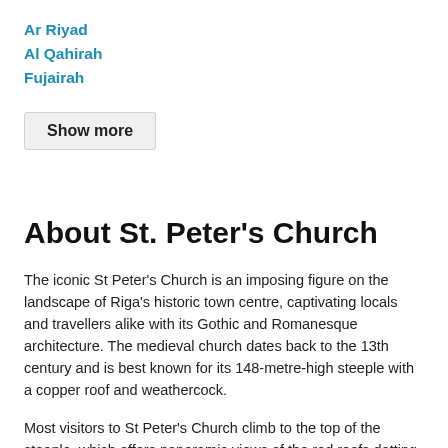Ar Riyad
Al Qahirah
Fujairah
Show more
About St. Peter's Church
The iconic St Peter’s Church is an imposing figure on the landscape of Riga’s historic town centre, captivating locals and travellers alike with its Gothic and Romanesque architecture. The medieval church dates back to the 13th century and is best known for its 148-metre-high steeple with a copper roof and weathercock.
Most visitors to St Peter’s Church climb to the top of the steeple, which offers panoramic views of the red roofs dotting the Old Town and the picturesque Riga Bay and Daugava River. Along with admiring the historic architecture, you can explore an on-site art exhibition, attend a memorable live concert or learn more about